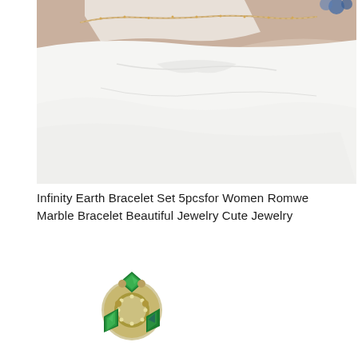[Figure (photo): Close-up photo of a person's wrist wearing a delicate gold chain bracelet, with a white fabric background and a blue floral accessory visible at top right.]
Infinity Earth Bracelet Set 5pcsfor Women Romwe Marble Bracelet Beautiful Jewelry Cute Jewelry
[Figure (photo): Close-up photo of two ornate jewelry pieces featuring emerald green gemstones set in silver/gold metalwork with small crystal accents, resembling decorative brooches or rings.]